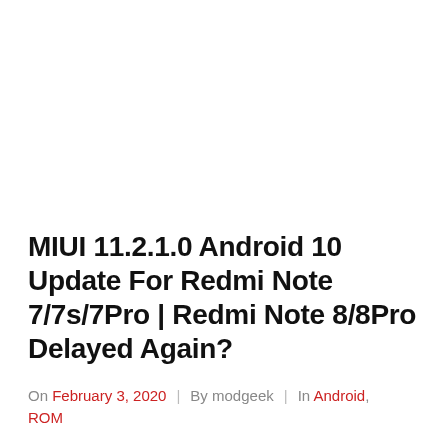MIUI 11.2.1.0 Android 10 Update For Redmi Note 7/7s/7Pro | Redmi Note 8/8Pro Delayed Again?
On February 3, 2020 | By modgeek | In Android, ROM
MIUI 11.2.1.0 Android 10 Update For Redmi Note